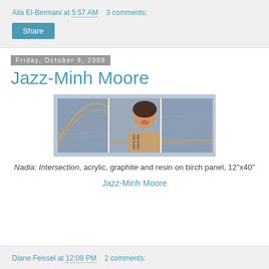Alia El-Bermani at 5:57 AM   3 comments:
Share
Friday, October 9, 2009
Jazz-Minh Moore
[Figure (photo): Triptych painting showing abstract lines on left panel and a woman laughing on center/right panels, painted in muted blue-grey tones with orange accents]
Nadia: Intersection, acrylic, graphite and resin on birch panel, 12"x40"
Jazz-Minh Moore
Diane Feissel at 12:09 PM   2 comments: